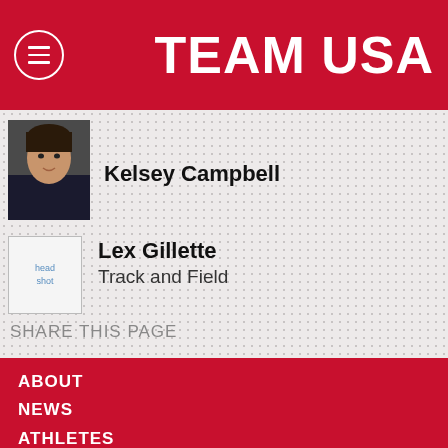TEAM USA
Kelsey Campbell
Lex Gillette
Track and Field
SHARE THIS PAGE
ABOUT
NEWS
ATHLETES
ATHLETE SERVICES